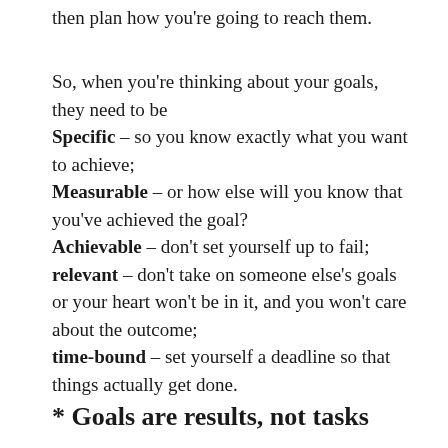then plan how you're going to reach them.
So, when you're thinking about your goals, they need to be
Specific – so you know exactly what you want to achieve;
Measurable – or how else will you know that you've achieved the goal?
Achievable – don't set yourself up to fail;
relevant – don't take on someone else's goals or your heart won't be in it, and you won't care about the outcome;
time-bound – set yourself a deadline so that things actually get done.
* Goals are results, not tasks